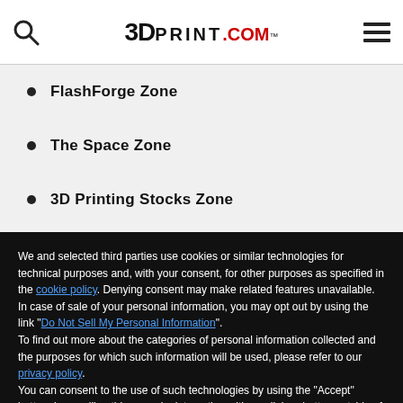3DPRINT.COM
FlashForge Zone
The Space Zone
3D Printing Stocks Zone
We and selected third parties use cookies or similar technologies for technical purposes and, with your consent, for other purposes as specified in the cookie policy. Denying consent may make related features unavailable.
In case of sale of your personal information, you may opt out by using the link "Do Not Sell My Personal Information".
To find out more about the categories of personal information collected and the purposes for which such information will be used, please refer to our privacy policy.
You can consent to the use of such technologies by using the "Accept" button, by scrolling this page, by interacting with any link or button outside of this notice or by continuing to browse otherwise.
Reject
Accept
Learn more and customize